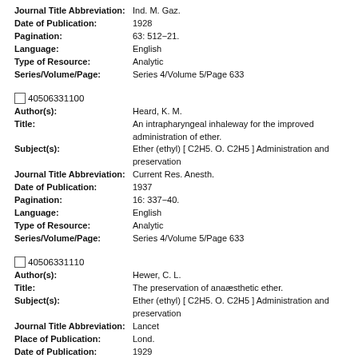Journal Title Abbreviation: Ind. M. Gaz.
Date of Publication: 1928
Pagination: 63: 512-21.
Language: English
Type of Resource: Analytic
Series/Volume/Page: Series 4/Volume 5/Page 633
40506331100
Author(s): Heard, K. M.
Title: An intrapharyngeal inhaleway for the improved administration of ether.
Subject(s): Ether (ethyl) [ C2H5. O. C2H5 ] Administration and preservation
Journal Title Abbreviation: Current Res. Anesth.
Date of Publication: 1937
Pagination: 16: 337-40.
Language: English
Type of Resource: Analytic
Series/Volume/Page: Series 4/Volume 5/Page 633
40506331110
Author(s): Hewer, C. L.
Title: The preservation of anaesthetic ether.
Subject(s): Ether (ethyl) [ C2H5. O. C2H5 ] Administration and preservation
Journal Title Abbreviation: Lancet
Place of Publication: Lond.
Date of Publication: 1929
Pagination: 1: 770.
Language: English
Type of Resource: Analytic